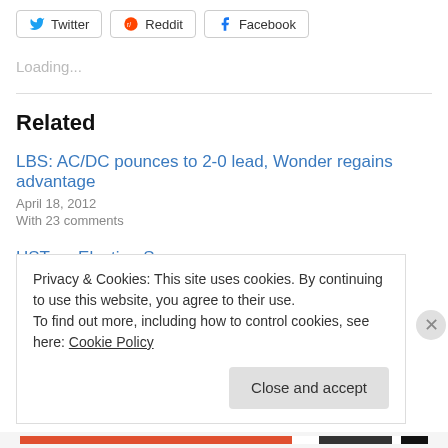[Figure (other): Social share buttons: Twitter, Reddit, Facebook]
Loading...
Related
LBS: AC/DC pounces to 2-0 lead, Wonder regains advantage
April 18, 2012
With 23 comments
HST on Election Season
November 5, 2012
Privacy & Cookies: This site uses cookies. By continuing to use this website, you agree to their use.
To find out more, including how to control cookies, see here: Cookie Policy
Close and accept